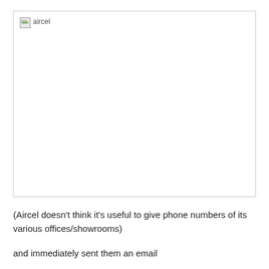[Figure (other): Broken image placeholder labeled 'aircel' — a large white box with a broken image icon and alt text 'aircel' in the top-left corner, surrounded by a light border.]
(Aircel doesn't think it's useful to give phone numbers of its various offices/showrooms)
and immediately sent them an email